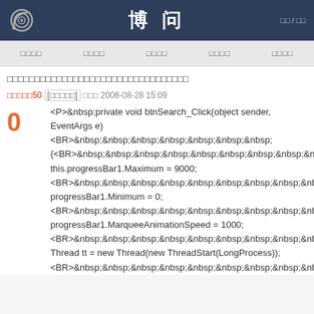博问
□□□□ □□□□ □□□□ □□□□ □□□□
□□□□□□□□□□□□□□□□□□□□□□□□□□□□□□□□□
□□□□□50 [□□□□□] □□□ 2008-08-28 15:09
0
<P>&nbsp;private void btnSearch_Click(object sender, EventArgs e)
<BR>&nbsp;&nbsp;&nbsp;&nbsp;&nbsp;&nbsp;&nbsp;
{<BR>&nbsp;&nbsp;&nbsp;&nbsp;&nbsp;&nbsp;&nbsp;&nbsp;&nbsp;&nbsp;&nbsp;&nbsp; this.progressBar1.Maximum = 9000;
<BR>&nbsp;&nbsp;&nbsp;&nbsp;&nbsp;&nbsp;&nbsp;&nbsp;&nbsp;&nbsp;&nbsp;&nbsp; progressBar1.Minimum = 0;
<BR>&nbsp;&nbsp;&nbsp;&nbsp;&nbsp;&nbsp;&nbsp;&nbsp;&nbsp;&nbsp;&nbsp;&nbsp; progressBar1.MarqueeAnimationSpeed = 1000;
<BR>&nbsp;&nbsp;&nbsp;&nbsp;&nbsp;&nbsp;&nbsp;&nbsp;&nbsp;&nbsp;&nbsp;&nbsp;&nbsp;&nbsp;&nbsp;&nbsp;&nbsp;&nbsp;&nbsp;&nbsp; Thread tt = new Thread(new ThreadStart(LongProcess));
<BR>&nbsp;&nbsp;&nbsp;&nbsp;&nbsp;&nbsp;&nbsp;&nbsp;&nbsp;&nbsp;&nbsp;&nbsp;&nbsp;&nbsp;&nbsp;&nbsp;&nbsp;&nbsp;&nbsp;&nbsp;